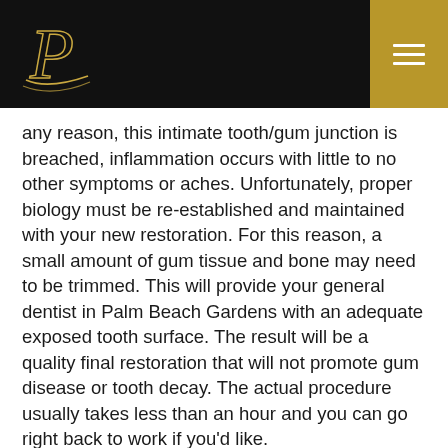Header navigation bar with logo and menu
any reason, this intimate tooth/gum junction is breached, inflammation occurs with little to no other symptoms or aches. Unfortunately, proper biology must be re-established and maintained with your new restoration. For this reason, a small amount of gum tissue and bone may need to be trimmed. This will provide your general dentist in Palm Beach Gardens with an adequate exposed tooth surface. The result will be a quality final restoration that will not promote gum disease or tooth decay. The actual procedure usually takes less than an hour and you can go right back to work if you'd like.
If you have any questions of how a crown lengthening may benefit your long-term periodontal health, come in and discuss this treatment with Dr. Fotek. He is an expert in maintaining life long gum health in Palm Beach Gardens.